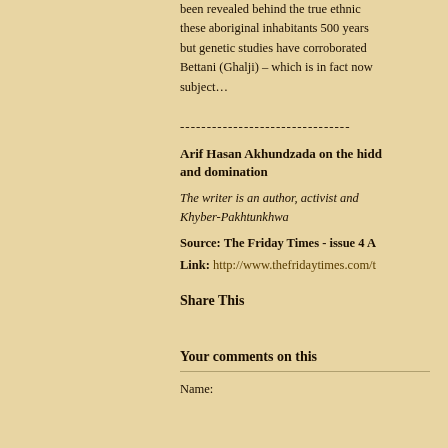been revealed behind the true ethnic these aboriginal inhabitants 500 years but genetic studies have corroborated Bettani (Ghalji) – which is in fact now subject…
--------------------------------
Arif Hasan Akhundzada on the hidden and domination
The writer is an author, activist and Khyber-Pakhtunkhwa
Source: The Friday Times - issue 4 A
Link: http://www.thefridaytimes.com/t
Share This
Your comments on this
Name: